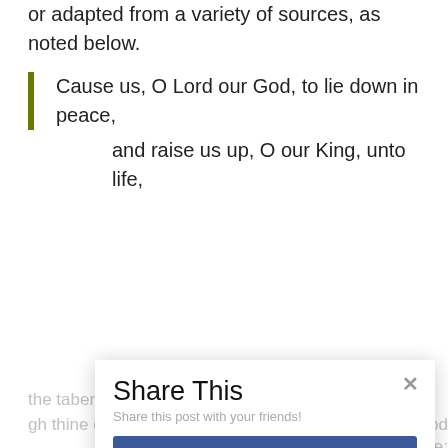or adapted from a variety of sources, as noted below.
Cause us, O Lord our God, to lie down in peace,
and raise us up, O our King, unto life,
Share This
Share this post with your friends!
Facebook
Twitter
Google+
LinkedIn